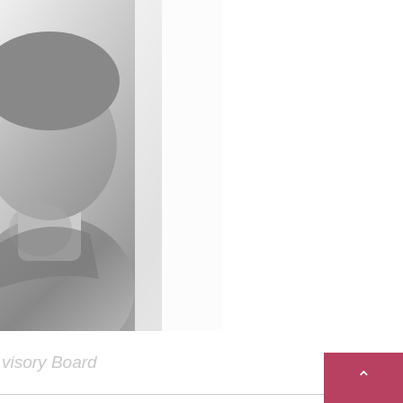[Figure (photo): Partial grayscale photo of a man's face and upper body, cropped, showing partial face on left side]
visory Board
Questo sito utilizza cookie tecnici e analitici per una tua migliore esperienza di navigazione e veicola cookie di profilazione di terze parti per proporti pubblicità in linea con le tue preferenze. Se vuoi maggiori informazioni leggi l'informativa, proseguendo la navigazione, invece, presti il consenso all'uso di tutti i cookie. read more